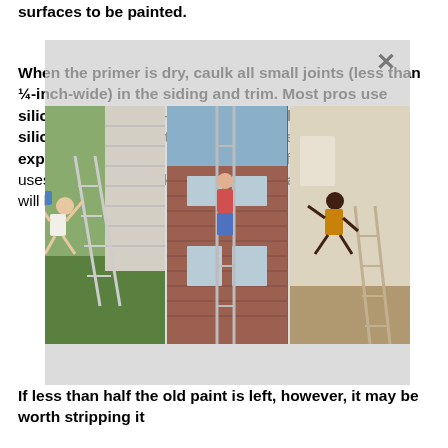surfaces to be painted.
When the primer is dry, caulk all small joints (less than ¼-inch-wide) in the siding and trim. Most pros use siliconized acrylics—paint won't stick to straight silicones—but Guertin and O'Neil like the new, more expensive urethane acrylics for their flexibility. O'Neil uses a damp on caulk, "you can't square one." quality will last 3 a 15-year
[Figure (photo): Three photos showing people on ladders painting house exteriors and an indoor acrobatic pose, overlaid on the text block with a semi-transparent gray panel and an X close button.]
If less than half the old paint is left, however, it may be worth stripping it